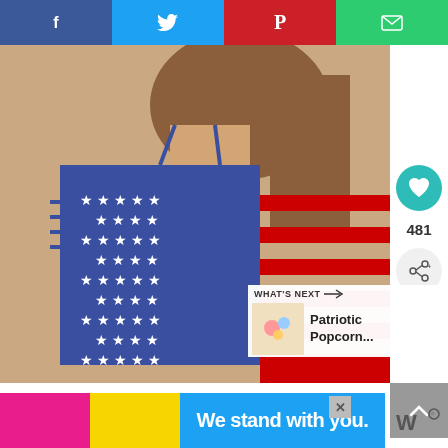[Figure (other): Social media sharing bar with Facebook (blue), Twitter (light blue), Pinterest (red), and Email (green) buttons at top]
[Figure (photo): Woman wearing DREAGAL American flag off-shoulder short sleeve shirt with stars and stripes pattern]
481
[Figure (other): WHAT'S NEXT arrow panel showing Patriotic Popcorn... thumbnail]
DREAGAL Women's Short Sleeve Off Shoulder O Neck American Flag Shirt Casual Top Blouse M
[Figure (photo): Second product image showing blue American flag themed top, partially visible]
We stand with you.